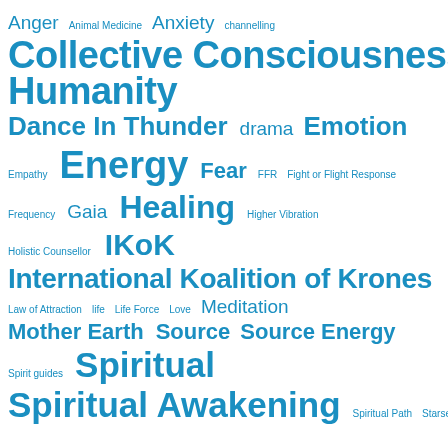[Figure (infographic): Tag cloud of spiritual and metaphysical topics in varying font sizes and shades of blue, indicating relative frequency or importance. Tags include: Anger, Animal Medicine, Anxiety, channelling, Collective Consciousness of Humanity, Dance In Thunder, drama, Emotion, Empathy, Energy, Fear, FFR, Fight or Flight Response, Frequency, Gaia, Healing, Higher Vibration, Holistic Counsellor, IKoK, International Koalition of Krones, Law of Attraction, life, Life Force, Love, Meditation, Mother Earth, Source, Source Energy, Spirit guides, Spiritual, Spiritual Awakening, Spiritual Path, Starseed]